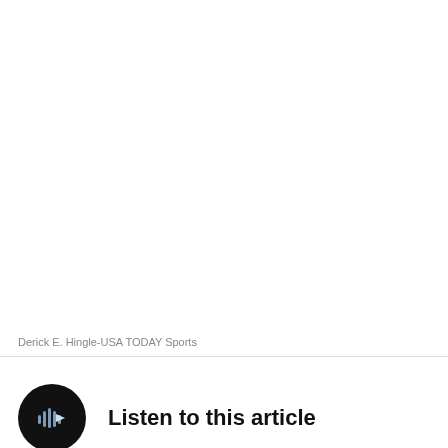[Figure (photo): Large sports photograph (white/blank area shown), credited to Derick E. Hingle-USA TODAY Sports]
Derick E. Hingle-USA TODAY Sports
Listen to this article